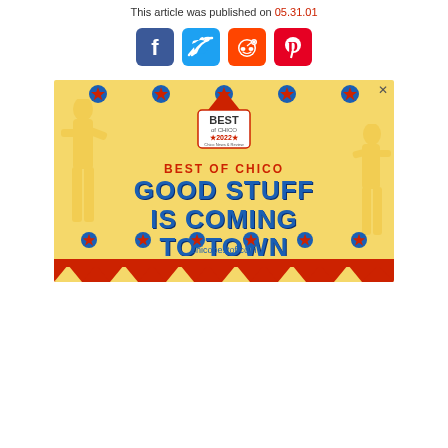This article was published on 05.31.01
[Figure (infographic): Social media share icons: Facebook (blue), Twitter (light blue), Reddit (orange), Pinterest (red)]
[Figure (infographic): Best of Chico 2022 advertisement banner with carnival theme. Text reads: BEST OF CHICO - GOOD STUFF IS COMING TO TOWN - chicobestof.com. Yellow background with blue stars, red/yellow bunting at bottom, silhouette figures on sides.]